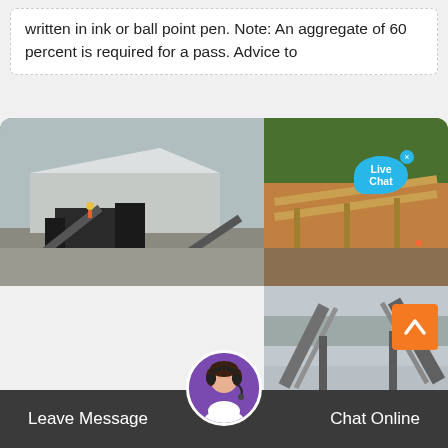written in ink or ball point pen. Note: An aggregate of 60 percent is required for a pass. Advice to
[Figure (photo): Three industrial mining/quarrying machinery photos arranged in a grid: top-left shows a crushing/processing plant building with machinery; top-right shows a conveyor belt system at a mining site with trees in background and a Live Chat bubble overlay; bottom-right shows large conveyor belts in a misty/foggy industrial setting.]
Leave Message
Chat Online